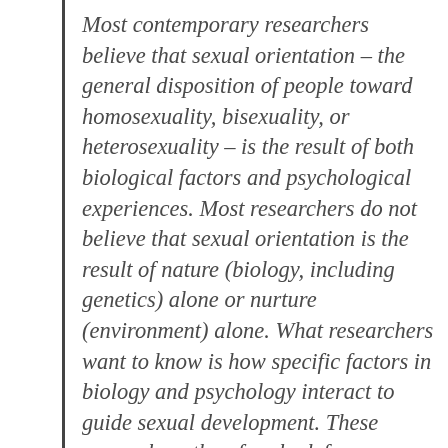Most contemporary researchers believe that sexual orientation – the general disposition of people toward homosexuality, bisexuality, or heterosexuality – is the result of both biological factors and psychological experiences. Most researchers do not believe that sexual orientation is the result of nature (biology, including genetics) alone or nurture (environment) alone. What researchers want to know is how specific factors in biology and psychology interact to guide sexual development. These researchers therefore look for biological and psychological